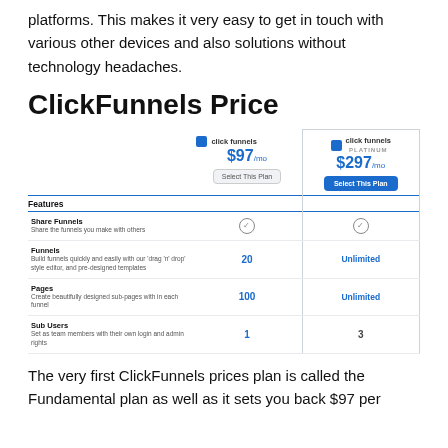platforms. This makes it very easy to get in touch with various other devices and also solutions without technology headaches.
ClickFunnels Price
| Features | click funnels $97/mo | click funnels PLATINUM $297/mo |
| --- | --- | --- |
| Share Funnels – Share the funnels you make with others | ✓ | ✓ |
| Funnels – Build funnels quickly and easily with our 'drag 'n' drop' style editor, and pre-designed templates | 20 | Unlimited |
| Pages – Create beautifully designed sub-pages with in each funnel | 100 | Unlimited |
| Sub Users – Set as team members with their own login and admin rights | 1 | 3 |
The very first ClickFunnels prices plan is called the Fundamental plan as well as it sets you back $97 per